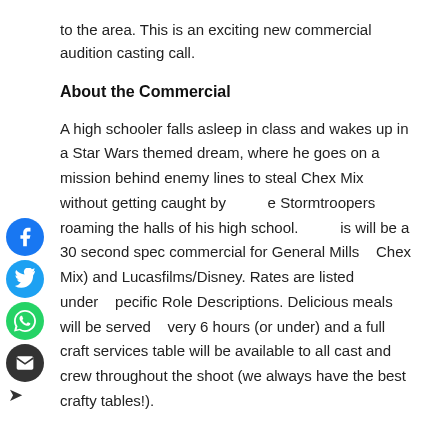to the area. This is an exciting new commercial audition casting call.
About the Commercial
A high schooler falls asleep in class and wakes up in a Star Wars themed dream, where he goes on a mission behind enemy lines to steal Chex Mix without getting caught by the Stormtroopers roaming the halls of his high school. This will be a 30 second spec commercial for General Mills (Chex Mix) and Lucasfilms/Disney. Rates are listed under Specific Role Descriptions. Delicious meals will be served every 6 hours (or under) and a full craft services table will be available to all cast and crew throughout the shoot (we always have the best crafty tables!).